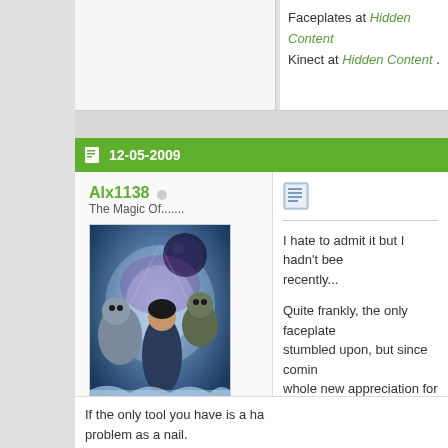Faceplates at Hidden Content Kinect at Hidden Content .
12-05-2009
Alx1138
The Magic Of.......
[Figure (illustration): Fantasy/sci-fi artwork showing characters in a dynamic scene with blue tones]
Join Date: Nov 2009
Location: Temiskaming
Posts: 86
Add Alx1138 on Xbox Live
My Product Reviews
I hate to admit it but I hadn't been recently...

Quite frankly, the only faceplate stumbled upon, but since coming whole new appreciation for the a

The ones in this thread are stun collection built up....I'll look for t
If the only tool you have is a hammer, every problem as a nail.
~Abraham Maslow